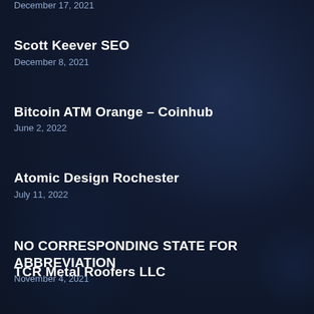December 17, 2021
Scott Keever SEO
December 8, 2021
Bitcoin ATM Orange – Coinhub
June 2, 2022
Atomic Design Rochester
July 11, 2022
NO CORRESPONDING STATE FOR ABBREVIATION
November 4, 2021
TCR Metal Roofers LLC